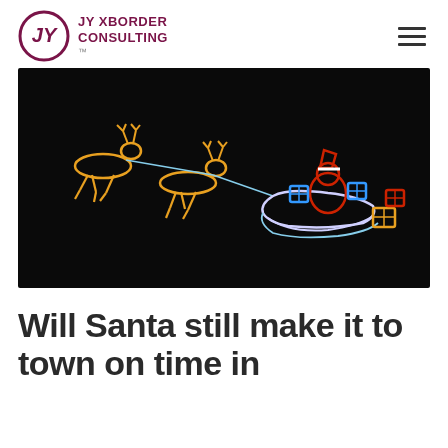JY XBORDER CONSULTING
[Figure (photo): Christmas light display on black background showing reindeer made of orange/gold lights pulling a sleigh with Santa Claus and presents made of blue, red, and gold lights]
Will Santa still make it to town on time in